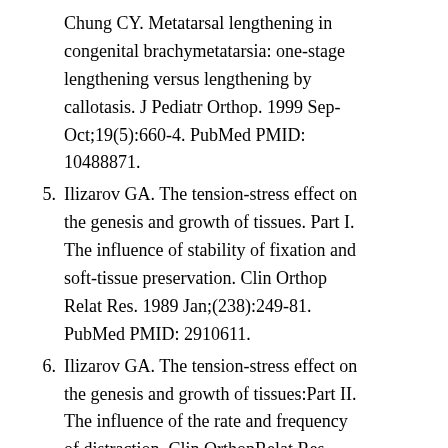Chung CY. Metatarsal lengthening in congenital brachymetatarsia: one-stage lengthening versus lengthening by callotasis. J Pediatr Orthop. 1999 Sep-Oct;19(5):660-4. PubMed PMID: 10488871.
5. Ilizarov GA. The tension-stress effect on the genesis and growth of tissues. Part I. The influence of stability of fixation and soft-tissue preservation. Clin Orthop Relat Res. 1989 Jan;(238):249-81. PubMed PMID: 2910611.
6. Ilizarov GA. The tension-stress effect on the genesis and growth of tissues:Part II. The influence of the rate and frequency of distraction. Clin OrthopRelat Res. 1989 Feb;(239):263-85. PubMed PMID: 2912628.3. Skirving AP, Newman JH. Elongation of the first metatarsal. J